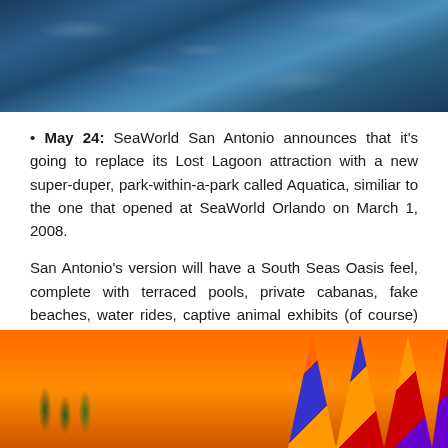[Figure (photo): Top portion of a water/ocean surface photo, showing dark blue rippling water with light reflections]
May 24: SeaWorld San Antonio announces that it's going to replace its Lost Lagoon attraction with a new super-duper, park-within-a-park called Aquatica, similiar to the one that opened at SeaWorld Orlando on March 1, 2008.
San Antonio's version will have a South Seas Oasis feel, complete with terraced pools, private cabanas, fake beaches, water rides, captive animal exhibits (of course) and crowd-control to maintain that fake oasis feel. Look for it in May 2012.
[Figure (photo): Bottom portion showing a colorful water park rendering with palm trees, colorful water slides or structures on the right, and a blue sky background]